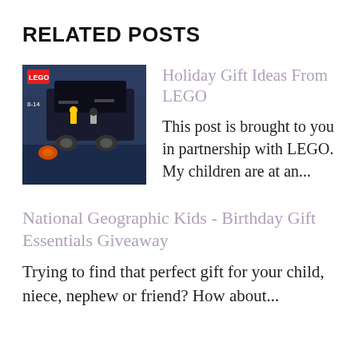RELATED POSTS
[Figure (photo): LEGO Movie set box showing a vehicle with minifigures, age range 8-14]
Holiday Gift Ideas From LEGO
This post is brought to you in partnership with LEGO. My children are at an...
National Geographic Kids - Birthday Gift Essentials Giveaway
Trying to find that perfect gift for your child, niece, nephew or friend? How about...